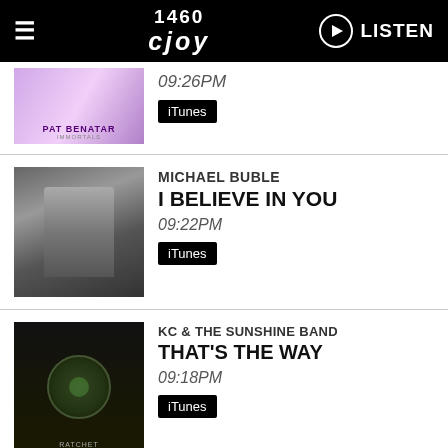1460 CJOY — LISTEN
PAT BENATAR — 09:26PM — iTunes
MICHAEL BUBLE — I BELIEVE IN YOU — 09:22PM — iTunes
KC & THE SUNSHINE BAND — THAT'S THE WAY — 09:18PM — iTunes
View Full Playlist →
Latest
[Figure (photo): Bottom portion of a photo in the Latest section, dark tones showing what appears to be outdoor scene with lock/chain imagery]